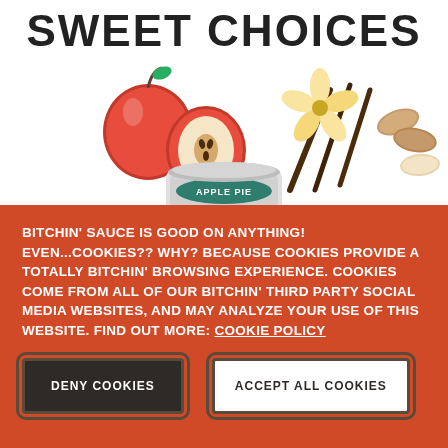SWEET CHOICES
[Figure (illustration): Illustrated apples (whole and halved), vanilla flower and sticks, almonds, and a jar labeled APPLE PIE on a white background]
BITCHIN' SAUCE IS GOOD ON ANYTHING! EVEN...COOKIES?? WHY? BECAUSE COOKIES PROVIDE A TOTALLY BITCHIN' BROWSING EXPERIENCE. COOKIES COME FROM ALL OF OUR BITCHIN' THIRD PARTY SOCIAL MEDIA WEBSITES, AND MAY ANALYZE YOUR USE OF THIS WEBSITE. FIND OUT MORE: COOKIE POLICY
DENY COOKIES
ACCEPT ALL COOKIES